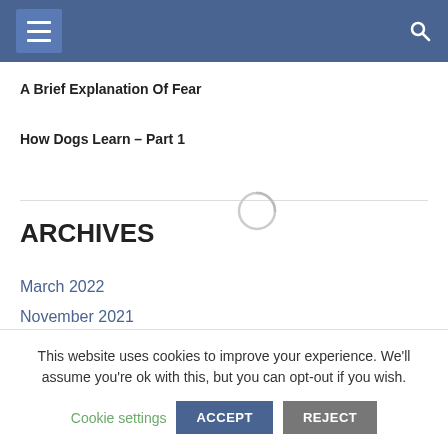Navigation bar with menu and search icons
A Brief Explanation Of Fear
How Dogs Learn – Part 1
ARCHIVES
March 2022
November 2021
This website uses cookies to improve your experience. We'll assume you're ok with this, but you can opt-out if you wish.
Cookie settings | ACCEPT | REJECT